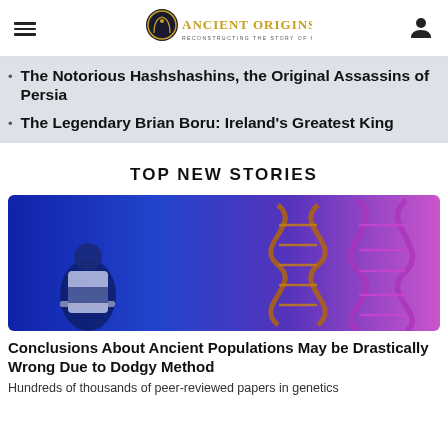Ancient Origins — Reconstructing the Story of Humanity's Past
The Notorious Hashshashins, the Original Assassins of Persia
The Legendary Brian Boru: Ireland's Greatest King
TOP NEW STORIES
[Figure (photo): Scientist working at laptop with DNA double helix structures in background, blue and purple tones]
Conclusions About Ancient Populations May be Drastically Wrong Due to Dodgy Method
Hundreds of thousands of peer-reviewed papers in genetics